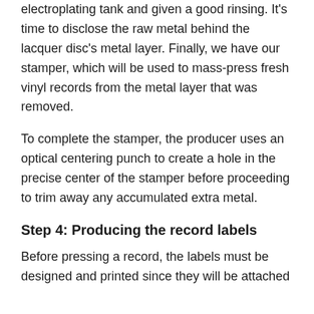electroplating tank and given a good rinsing. It's time to disclose the raw metal behind the lacquer disc's metal layer. Finally, we have our stamper, which will be used to mass-press fresh vinyl records from the metal layer that was removed.
To complete the stamper, the producer uses an optical centering punch to create a hole in the precise center of the stamper before proceeding to trim away any accumulated extra metal.
Step 4: Producing the record labels
Before pressing a record, the labels must be designed and printed since they will be attached